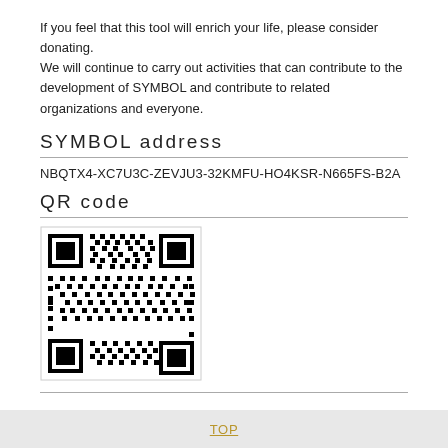If you feel that this tool will enrich your life, please consider donating.
We will continue to carry out activities that can contribute to the development of SYMBOL and contribute to related organizations and everyone.
SYMBOL address
NBQTX4-XC7U3C-ZEVJU3-32KMFU-HO4KSR-N665FS-B2A
QR code
[Figure (other): QR code image for the SYMBOL donation address NBQTX4-XC7U3C-ZEVJU3-32KMFU-HO4KSR-N665FS-B2A]
TOP